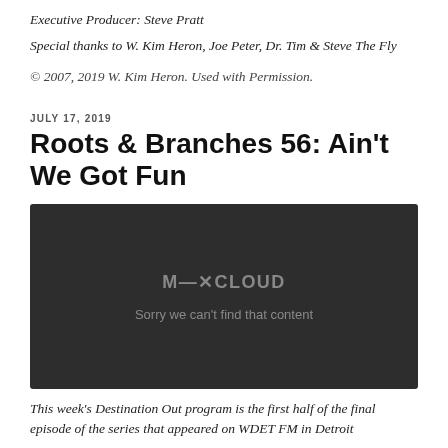Executive Producer: Steve Pratt
Special thanks to W. Kim Heron, Joe Peter, Dr. Tim & Steve The Fly
© 2007, 2019 W. Kim Heron. Used with Permission.
JULY 17, 2019
Roots & Branches 56: Ain't We Got Fun
[Figure (screenshot): Mixcloud embedded player showing error message: 'Sorry we can't find that content']
This week's Destination Out program is the first half of the final episode of the series that appeared on WDET FM in Detroit